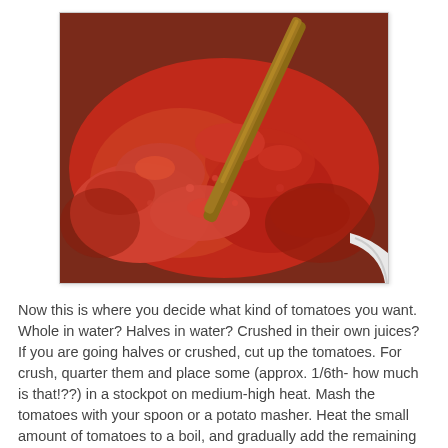[Figure (photo): A large pot filled with crushed/cooked tomatoes in red sauce, with a wooden spoon resting across the pot. The pot appears to be a white or light-colored stockpot.]
Now this is where you decide what kind of tomatoes you want. Whole in water? Halves in water? Crushed in their own juices? If you are going halves or crushed, cut up the tomatoes. For crush, quarter them and place some (approx. 1/6th- how much is that!??) in a stockpot on medium-high heat. Mash the tomatoes with your spoon or a potato masher. Heat the small amount of tomatoes to a boil, and gradually add the remaining quarters, stirring frequently. Return to a boil.